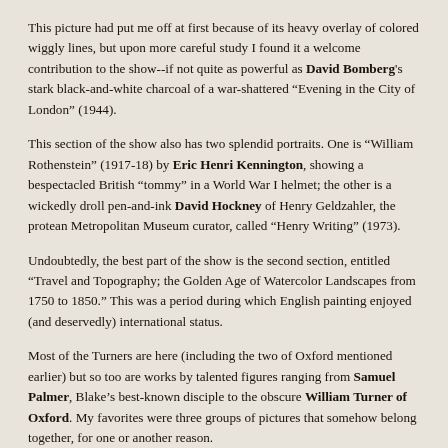This picture had put me off at first because of its heavy overlay of colored wiggly lines, but upon more careful study I found it a welcome contribution to the show--if not quite as powerful as David Bomberg's stark black-and-white charcoal of a war-shattered “Evening in the City of London” (1944).
This section of the show also has two splendid portraits. One is “William Rothenstein” (1917-18) by Eric Henri Kennington, showing a bespectacled British “tommy” in a World War I helmet; the other is a wickedly droll pen-and-ink David Hockney of Henry Geldzahler, the protean Metropolitan Museum curator, called “Henry Writing” (1973).
Undoubtedly, the best part of the show is the second section, entitled “Travel and Topography; the Golden Age of Watercolor Landscapes from 1750 to 1850.” This was a period during which English painting enjoyed (and deservedly) international status.
Most of the Turners are here (including the two of Oxford mentioned earlier) but so too are works by talented figures ranging from Samuel Palmer, Blake’s best-known disciple to the obscure William Turner of Oxford. My favorites were three groups of pictures that somehow belong together, for one or another reason.